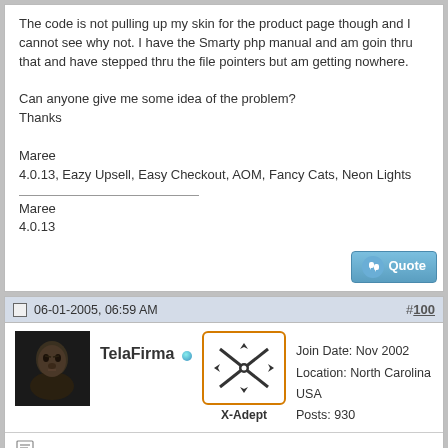The code is not pulling up my skin for the product page though and I cannot see why not. I have the Smarty php manual and am goin thru that and have stepped thru the file pointers but am getting nowhere.

Can anyone give me some idea of the problem?
Thanks

Maree
4.0.13, Eazy Upsell, Easy Checkout, AOM, Fancy Cats, Neon Lights
Maree
4.0.13
06-01-2005, 06:59 AM
#100
[Figure (photo): Avatar: dark-toned face photo]
TelaFirma
[Figure (illustration): X-Adept rank badge: orange-bordered box with crossed swords/aircraft icon]
Join Date: Nov 2002
Location: North Carolina USA
Posts: 930
You have a serious problem with your /customer/home.tpl file.

As best that I can tell you are calling the /customer/main/product.tpl file at the very begining of it. This causes all that extra code before you ever get to the <HEAD> tag....